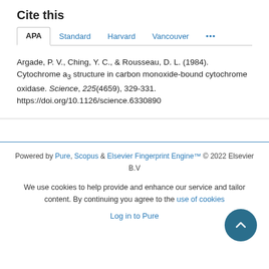Cite this
APA | Standard | Harvard | Vancouver | ...
Argade, P. V., Ching, Y. C., & Rousseau, D. L. (1984). Cytochrome a3 structure in carbon monoxide-bound cytochrome oxidase. Science, 225(4659), 329-331. https://doi.org/10.1126/science.6330890
Powered by Pure, Scopus & Elsevier Fingerprint Engine™ © 2022 Elsevier B.V
We use cookies to help provide and enhance our service and tailor content. By continuing you agree to the use of cookies
Log in to Pure